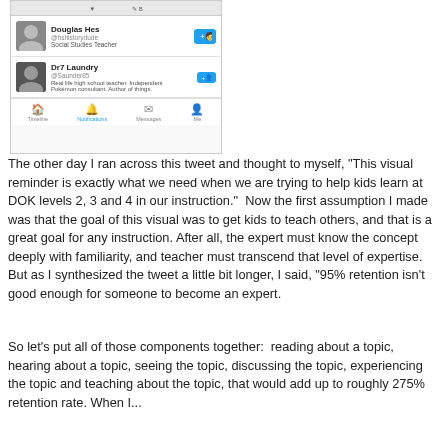[Figure (screenshot): Screenshot of a Twitter interface showing two user profiles: Douglas Hes (@hshistorydude, Social Studies Teacher) and Dr7 Laundry (@Saunder85, Real life high school teacher. Independent Pokemon consultant. Author of things.), with Twitter navigation bar at the bottom showing Timeline, Notifications, Messages, Me icons.]
The other day I ran across this tweet and thought to myself, "This visual reminder is exactly what we need when we are trying to help kids learn at DOK levels 2, 3 and 4 in our instruction."  Now the first assumption I made was that the goal of this visual was to get kids to teach others, and that is a great goal for any instruction. After all, the expert must know the concept deeply with familiarity, and teacher must transcend that level of expertise.   But as I synthesized the tweet a little bit longer, I said, "95% retention isn't good enough for someone to become an expert.
So let's put all of those components together:  reading about a topic, hearing about a topic, seeing the topic, discussing the topic, experiencing the topic and teaching about the topic, that would add up to roughly 275% retention rate. When I...